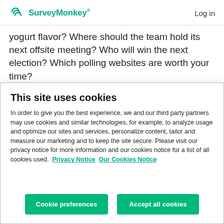SurveyMonkey® Log in
yogurt flavor? Where should the team hold its next offsite meeting? Who will win the next election? Which polling websites are worth your time?
A super tool for on-the-spot feedback, online polls let you
This site uses cookies
In order to give you the best experience, we and our third party partners may use cookies and similar technologies, for example, to analyze usage and optimize our sites and services, personalize content, tailor and measure our marketing and to keep the site secure. Please visit our privacy notice for more information and our cookies notice for a list of all cookies used.  Privacy Notice  Our Cookies Notice
Cookie preferences
Accept all cookies